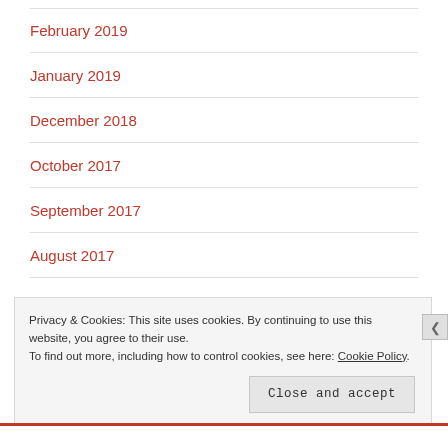February 2019
January 2019
December 2018
October 2017
September 2017
August 2017
Privacy & Cookies: This site uses cookies. By continuing to use this website, you agree to their use.
To find out more, including how to control cookies, see here: Cookie Policy
Close and accept